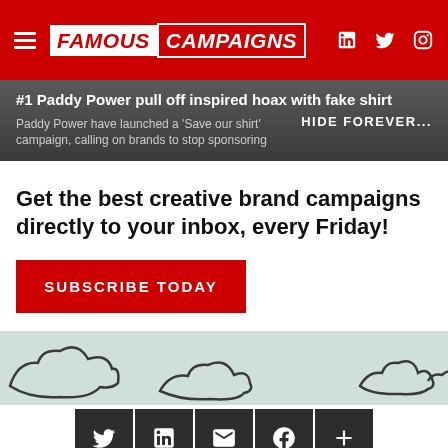FAMOUS CAMPAIGNS
#1 Paddy Power pull off inspired hoax with fake shirt
Paddy Power have launched a 'Save Our Shirt' campaign, calling on brands to stop sponsoring
HIDE FOREVER...
Get the best creative brand campaigns directly to your inbox, every Friday!
SUBSCRIBE TODAY
[Figure (illustration): Light teal/mint banner area with decorative cloud outline illustrations]
[Figure (infographic): Social sharing icons row: Twitter, LinkedIn, Email, Facebook, Plus/More — dark charcoal square buttons]